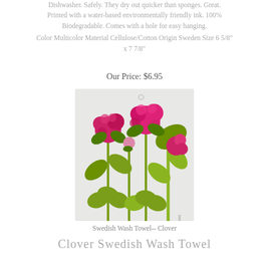Dishwasher. Safely. They dry out quicker than sponges. Great. Printed with a water-based environmentally friendly ink. 100% Biodegradable. Comes with a hole for easy hanging.
Color Multicolor Material Cellulose/Cotton Origin Sweden Size 6 5/8" x 7 7/8"
Our Price: $6.95
[Figure (photo): Swedish Wash Towel with clover flower design printed on a light gray/white background. Features pink/magenta clover blooms and green stems and leaves.]
Swedish Wash Towel-- Clover
Clover Swedish Wash Towel